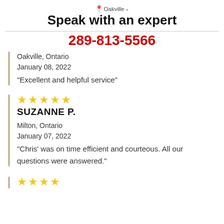Speak with an expert
289-813-5566
Oakville, Ontario
January 08, 2022
"Excellent and helpful service"
★★★★★
SUZANNE P.
Milton, Ontario
January 07, 2022
"Chris' was on time efficient and courteous. All our questions were answered."
[Figure (other): Five yellow stars rating at bottom of page]